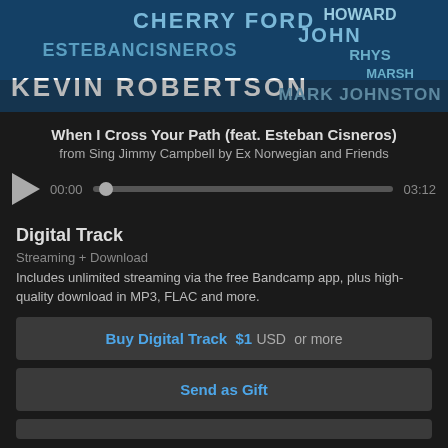[Figure (illustration): Album art for Sing Jimmy Campbell by Ex Norwegian and Friends, showing stylized text with artist names including Cherry Ford, Esteban Cisneros, Kevin Robertson, John Howard, Rhys Marsh, Mark Johnston on a blue background]
When I Cross Your Path (feat. Esteban Cisneros)
from Sing Jimmy Campbell by Ex Norwegian and Friends
[Figure (screenshot): Audio player with play button, time indicator showing 00:00, progress bar with knob, and end time 03:12]
Digital Track
Streaming + Download
Includes unlimited streaming via the free Bandcamp app, plus high-quality download in MP3, FLAC and more.
Buy Digital Track  $1 USD  or more
Send as Gift